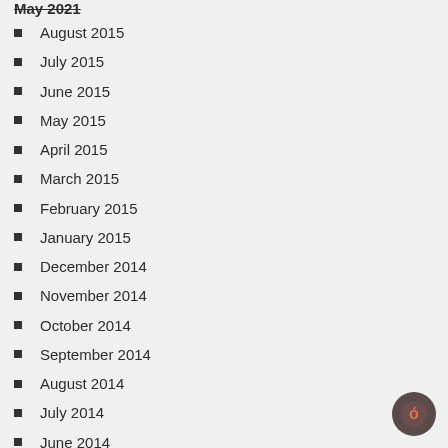August 2015
July 2015
June 2015
May 2015
April 2015
March 2015
February 2015
January 2015
December 2014
November 2014
October 2014
September 2014
August 2014
July 2014
June 2014
May 2014
April 2014
March 2014
February 2014